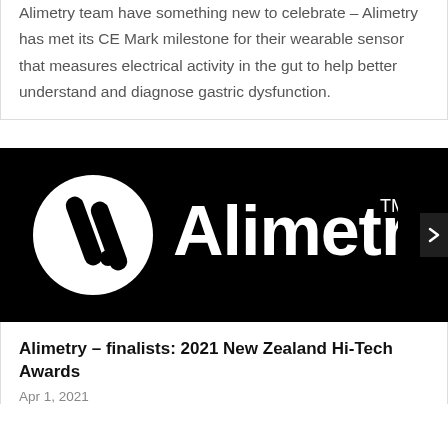Alimetry team have something new to celebrate – Alimetry has met its CE Mark milestone for their wearable sensor that measures electrical activity in the gut to help better understand and diagnose gastric dysfunction.
[Figure (logo): Alimetry logo on black background — circular icon with two diagonal white stripes and a dot, followed by the word Alimetry in white with a TM superscript]
Alimetry – finalists: 2021 New Zealand Hi-Tech Awards
Apr 1, 2021